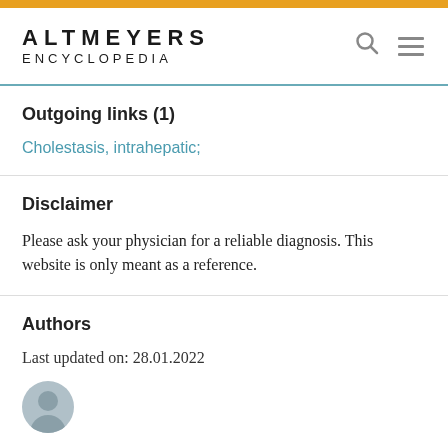ALTMEYERS ENCYCLOPEDIA
Outgoing links (1)
Cholestasis, intrahepatic;
Disclaimer
Please ask your physician for a reliable diagnosis. This website is only meant as a reference.
Authors
Last updated on: 28.01.2022